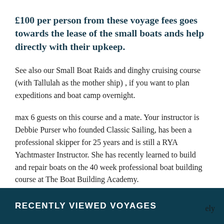£100 per person from these voyage fees goes towards the lease of the small boats ands help directly with their upkeep.
See also our Small Boat Raids and dinghy cruising course (with Tallulah as the mother ship) , if you want to plan expeditions and boat camp overnight.
max 6 guests on this course and a mate. Your instructor is Debbie Purser who founded Classic Sailing, has been a professional skipper for 25 years and is still a RYA Yachtmaster Instructor. She has recently learned to build and repair boats on the 40 week professional boat building course at The Boat Building Academy.
RECENTLY VIEWED VOYAGES